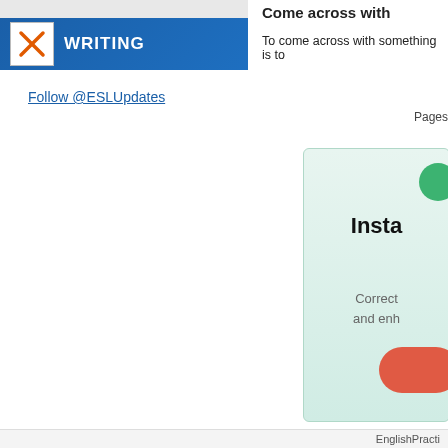[Figure (logo): WRITING section header bar with orange X icon on blue background]
Follow @ESLUpdates
Come across with
To come across with something is to
Pages
[Figure (screenshot): Advertisement box with green circle, bold 'Insta' text, gray 'Correct and enh' text, and red button on light green gradient background]
EnglishPracti